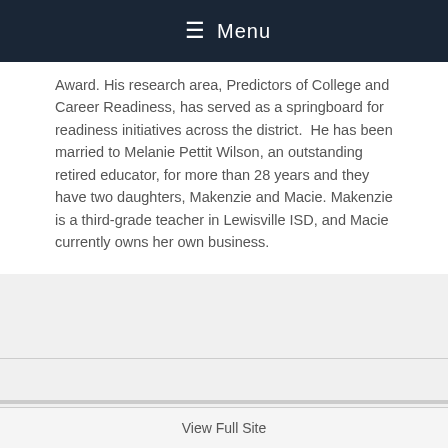Menu
Award. His research area, Predictors of College and Career Readiness, has served as a springboard for readiness initiatives across the district.  He has been married to Melanie Pettit Wilson, an outstanding retired educator, for more than 28 years and they have two daughters, Makenzie and Macie. Makenzie is a third-grade teacher in Lewisville ISD, and Macie currently owns her own business.
View Full Site